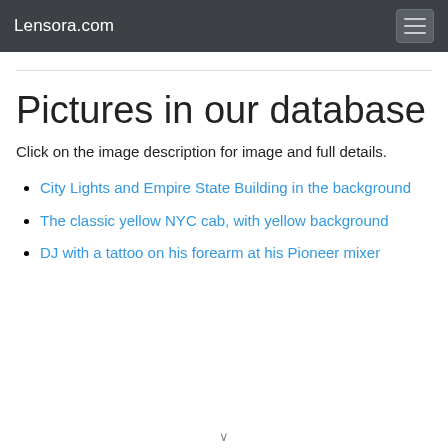Lensora.com
Pictures in our database
Click on the image description for image and full details.
City Lights and Empire State Building in the background
The classic yellow NYC cab, with yellow background
DJ with a tattoo on his forearm at his Pioneer mixer